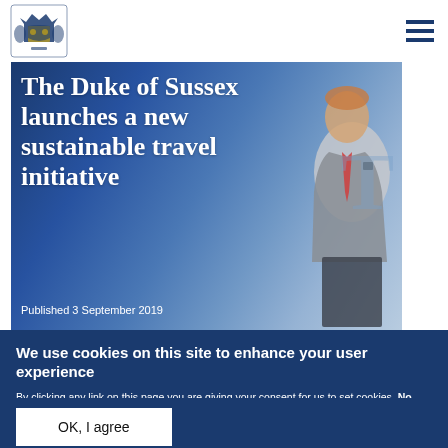[Figure (photo): Hero image showing The Duke of Sussex at an event with a blue background and partial letter T visible. White overlay title text reads: The Duke of Sussex launches a new sustainable travel initiative. Published 3 September 2019.]
The Duke of Sussex launches a new sustainable travel initiative
Published 3 September 2019
We use cookies on this site to enhance your user experience
By clicking any link on this page you are giving your consent for us to set cookies. No, give me more info
OK, I agree